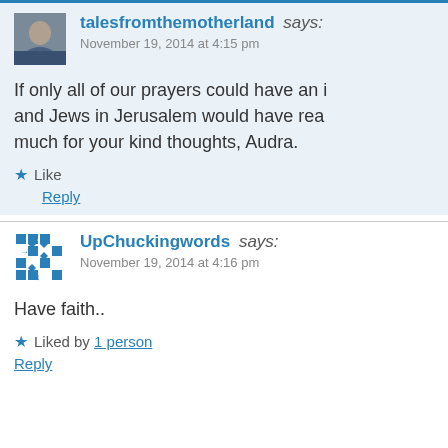talesfromthemotherland says:
November 19, 2014 at 4:15 pm
If only all of our prayers could have an i... and Jews in Jerusalem would have rea... much for your kind thoughts, Audra.
Like
Reply
UpChuckingwords says:
November 19, 2014 at 4:16 pm
Have faith..
Liked by 1 person
Reply